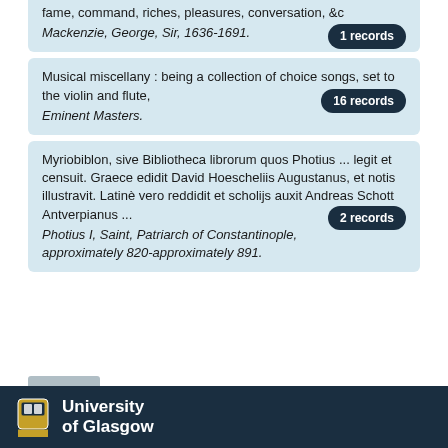fame, command, riches, pleasures, conversation, &c  1 records
Mackenzie, George, Sir, 1636-1691.
Musical miscellany : being a collection of choice songs, set to the violin and flute,  16 records
Eminent Masters.
Myriobiblon, sive Bibliotheca librorum quos Photius ... legit et censuit. Graece edidit David Hoescheliis Augustanus, et notis illustravit. Latinè vero reddidit et scholijs auxit Andreas Schott Antverpianus ...  2 records
Photius I, Saint, Patriarch of Constantinople, approximately 820-approximately 891.
University of Glasgow